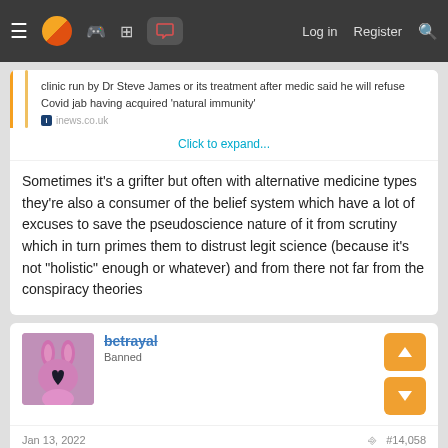≡ [logo] [gamepad] [grid] [chat] Log in Register [search]
clinic run by Dr Steve James or its treatment after medic said he will refuse Covid jab having acquired 'natural immunity'
inews.co.uk
Click to expand...
Sometimes it's a grifter but often with alternative medicine types they're also a consumer of the belief system which have a lot of excuses to save the pseudoscience nature of it from scrutiny which in turn primes them to distrust legit science (because it's not "holistic" enough or whatever) and from there not far from the conspiracy theories
betrayal
Banned
Jan 13, 2022
#14,058